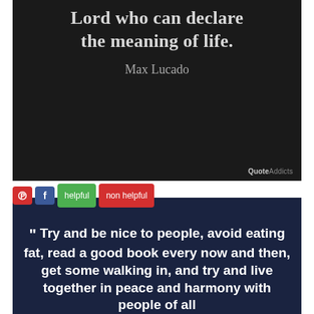[Figure (illustration): Dark background quote image with text: 'Lord who can declare the meaning of life.' attributed to Max Lucado, with QuoteAddicts watermark]
[Figure (screenshot): Dark navy background quote image with social sharing toolbar (Pinterest, Facebook, helpful, non helpful buttons) and text beginning: 'Try and be nice to people, avoid eating fat, read a good book every now and then, get some walking in, and try and live together in peace and harmony with people of all']